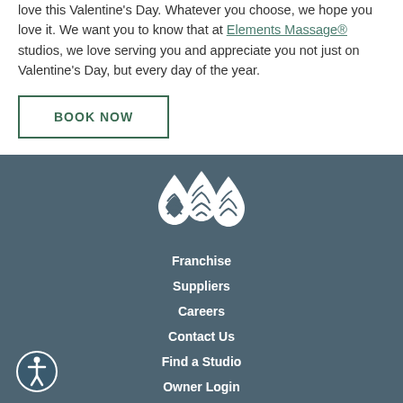love this Valentine's Day. Whatever you choose, we hope you love it. We want you to know that at Elements Massage® studios, we love serving you and appreciate you not just on Valentine's Day, but every day of the year.
BOOK NOW
[Figure (logo): Elements Massage three teardrop logo marks in white]
Franchise
Suppliers
Careers
Contact Us
Find a Studio
Owner Login